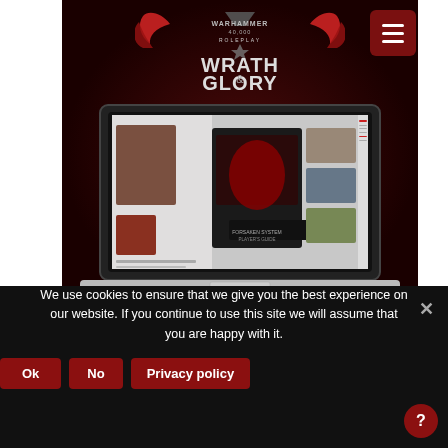[Figure (screenshot): Warhammer 40,000 Roleplay: Wrath & Glory website screenshot showing the game's logo with red wings and a chaos star, overlaid on a dark red damask background, with a laptop mockup displaying the website's product pages. A dark red hamburger menu button appears in the top right corner.]
We use cookies to ensure that we give you the best experience on our website. If you continue to use this site we will assume that you are happy with it.
Ok
No
Privacy policy